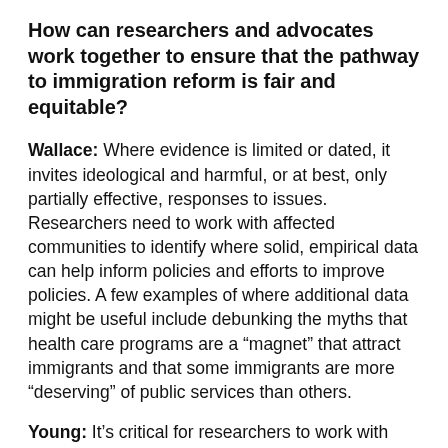How can researchers and advocates work together to ensure that the pathway to immigration reform is fair and equitable?
Wallace: Where evidence is limited or dated, it invites ideological and harmful, or at best, only partially effective, responses to issues. Researchers need to work with affected communities to identify where solid, empirical data can help inform policies and efforts to improve policies. A few examples of where additional data might be useful include debunking the myths that health care programs are a “magnet” that attract immigrants and that some immigrants are more “deserving” of public services than others.
Young: It’s critical for researchers to work with advocacy groups, such as the California Immigrant Policy Center and the National Immigration Law Center, to support their current advocacy efforts. Public health researchers have established really critical evidence